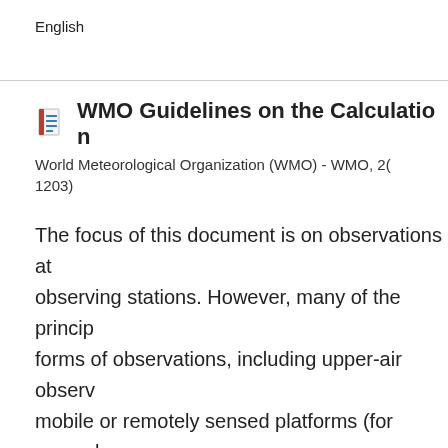English
WMO Guidelines on the Calculation
World Meteorological Organization (WMO) - WMO, 2... 1203)
The focus of this document is on observations at observing stations. However, many of the princip... forms of observations, including upper-air observ... mobile or remotely sensed platforms (for exampl... buoys). In particular, as many key remotely sens... 1970s, it is recommended that, where feasible, th... standard normal period (1981–2010 at the time o...